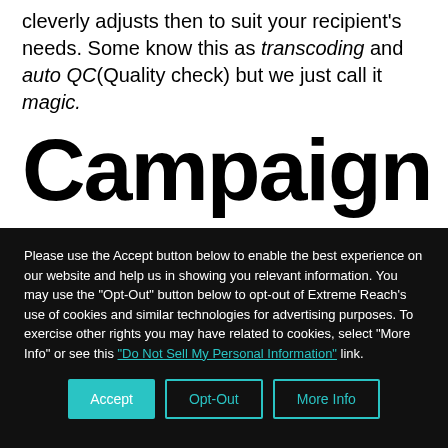cleverly adjusts then to suit your recipient's needs. Some know this as transcoding and auto QC(Quality check) but we just call it magic.
Campaign Manager
Please use the Accept button below to enable the best experience on our website and help us in showing you relevant information. You may use the "Opt-Out" button below to opt-out of Extreme Reach's use of cookies and similar technologies for advertising purposes. To exercise other rights you may have related to cookies, select "More Info" or see this "Do Not Sell My Personal Information" link.